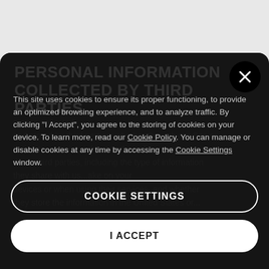PERSONAL INFORMATION COLLECTED BY THIRD PARTIES
Our Site includes hyperlinks to third-party websites, including for the purposes of providing any products and related activities. The...
This site uses cookies to ensure its proper functioning, to provide an optimized browsing experience, and to analyze traffic. By clicking "I Accept", you agree to the storing of cookies on your device. To learn more, read our Cookie Policy. You can manage or disable cookies at any time by accessing the Cookie Settings window.
...mation collected and stored by third parties, whether through our Site or their site, remains subject to the policies and practices those third parties, including the type of information they share with us...ake on your devices or when using their services, and whether they store the information in the United States or...
and process data through our Site: